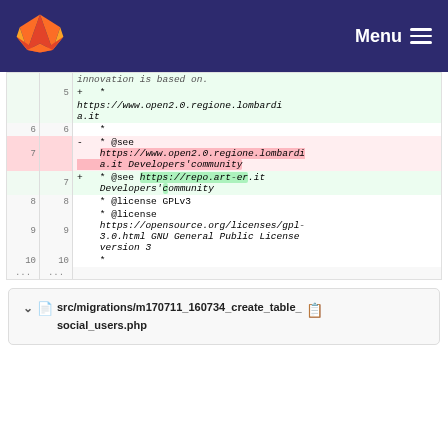Menu
[Figure (screenshot): GitLab diff view showing code changes to a PHP file. Lines 5-10 are shown with line numbers, diff markers (+/-), and code content. Line 7 is removed (showing old @see URL for regione.lombardia.it) and replaced with new line 7 (showing @see https://repo.art-er.it Developers' community). Lines 8-9 show @license GPLv3 and license URL.]
src/migrations/m170711_160734_create_table_social_users.php